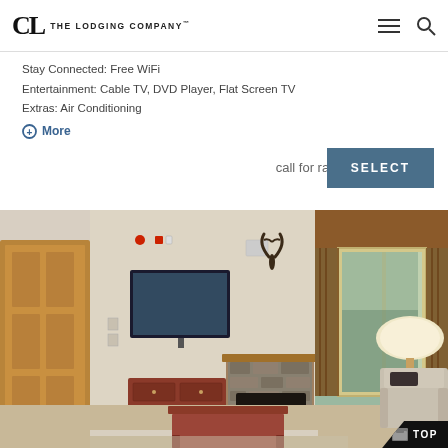The Lodging Company
Stay Connected: Free WiFi
Entertainment: Cable TV, DVD Player, Flat Screen TV
Extras: Air Conditioning
More
call for rate
SELECT
[Figure (photo): Interior photo of a lodge-style hotel room living area with a stone fireplace, flat-screen TV mounted on the wall, wooden coffee table, recliner chairs, a large window with curtains and a view of trees outside, and a floor lamp.]